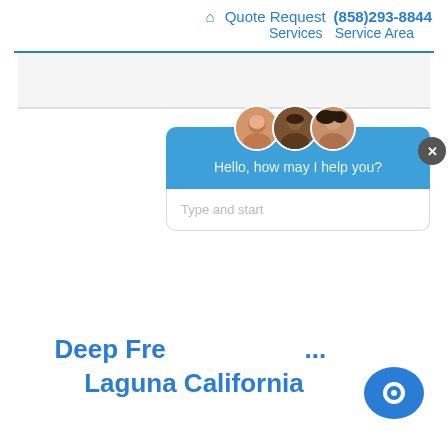🏠 Quote Request (858)293-8844 Services Service Area
[Figure (screenshot): Live chat widget popup with three agent avatars, blue header saying 'Hello, how may I help you?' and text input area saying 'Type and start']
Deep Fre... Laguna California